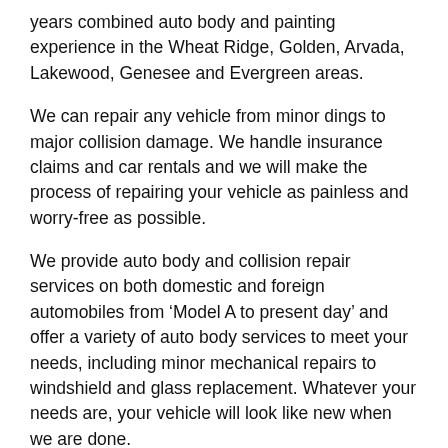years combined auto body and painting experience in the Wheat Ridge, Golden, Arvada, Lakewood, Genesee and Evergreen areas.
We can repair any vehicle from minor dings to major collision damage. We handle insurance claims and car rentals and we will make the process of repairing your vehicle as painless and worry-free as possible.
We provide auto body and collision repair services on both domestic and foreign automobiles from ‘Model A to present day’ and offer a variety of auto body services to meet your needs, including minor mechanical repairs to windshield and glass replacement. Whatever your needs are, your vehicle will look like new when we are done.
Damage to the body of vehicles happens, whether it’s by…